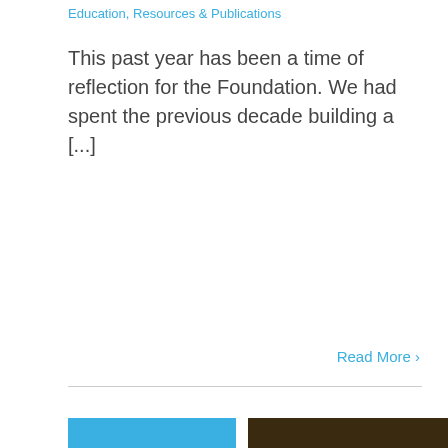Education, Resources & Publications
This past year has been a time of reflection for the Foundation. We had spent the previous decade building a [...]
Read More >
[Figure (screenshot): Date badge showing '20 / 05, 2014' in blue, alongside a thumbnail image for 'Missing and Murdered Aboriginal Women: A National Operational Overview' document cover]
Missing and Murdered Aboriginal Women: A National Operational Overview
May 20, 2014 | Arts, Culture & Heritage, Community Safety,